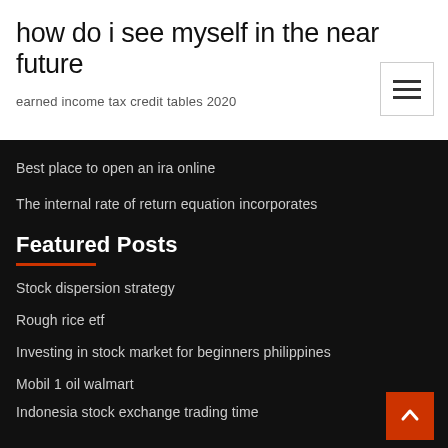how do i see myself in the near future
earned income tax credit tables 2020
Best place to open an ira online
The internal rate of return equation incorporates
Featured Posts
Stock dispersion strategy
Rough rice etf
Investing in stock market for beginners philippines
Mobil 1 oil walmart
Indonesia stock exchange trading time